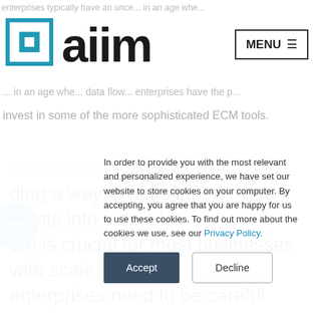aiim | MENU
ding a way to net all these data points into a smaller am is crucial for most businesses with scale. But, enterprises need to be careful about adopting an ECM strategy that's one-size-fits-all. Often there are too many silos, too much data, and too many systems for a single solution to map. Enterprises should think of
In order to provide you with the most relevant and personalized experience, we have set our website to store cookies on your computer. By accepting, you agree that you are happy for us to use these cookies. To find out more about the cookies we use, see our Privacy Policy.
Accept | Decline